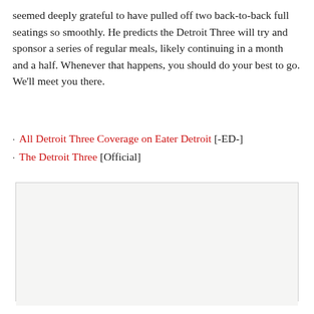seemed deeply grateful to have pulled off two back-to-back full seatings so smoothly. He predicts the Detroit Three will try and sponsor a series of regular meals, likely continuing in a month and a half. Whenever that happens, you should do your best to go. We'll meet you there.
All Detroit Three Coverage on Eater Detroit [-ED-]
The Detroit Three [Official]
[Figure (other): Card widget showing St. CeCe's Pub with a light gray image placeholder on top, venue name in red bold, address 1426 Bagley Street, Detroit, MI 48216, phone 313-962-2121, and a red Foursquare button on the right.]